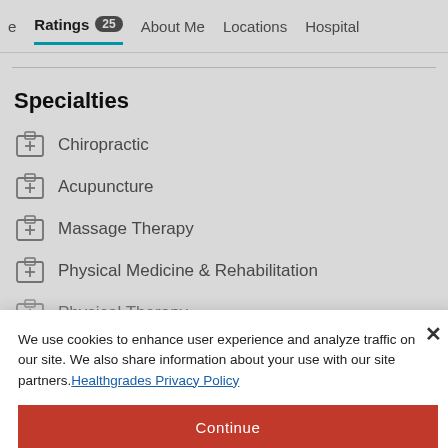Ratings 25  About Me  Locations  Hospital
Specialties
Chiropractic
Acupuncture
Massage Therapy
Physical Medicine & Rehabilitation
Physical Therapy
We use cookies to enhance user experience and analyze traffic on our site. We also share information about your use with our site partners. Healthgrades Privacy Policy
Continue
Access my Privacy Preferences